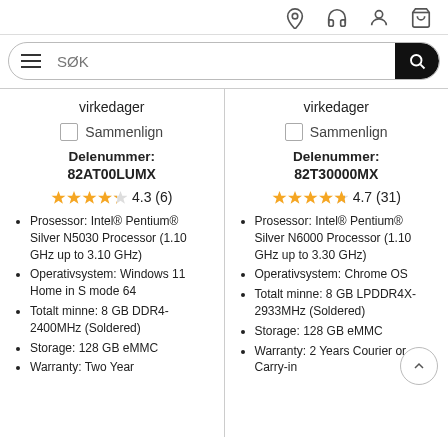[Figure (screenshot): E-commerce website header with location, headset, account, and cart icons, plus a search bar with hamburger menu]
virkedager
virkedager
Sammenlign
Sammenlign
Delenummer: 82AT00LUMX
Delenummer: 82T30000MX
4.3 (6)
4.7 (31)
Prosessor: Intel® Pentium® Silver N5030 Processor (1.10 GHz up to 3.10 GHz)
Operativsystem: Windows 11 Home in S mode 64
Totalt minne: 8 GB DDR4-2400MHz (Soldered)
Storage: 128 GB eMMC
Warranty: Two Year
Prosessor: Intel® Pentium® Silver N6000 Processor (1.10 GHz up to 3.30 GHz)
Operativsystem: Chrome OS
Totalt minne: 8 GB LPDDR4X-2933MHz (Soldered)
Storage: 128 GB eMMC
Warranty: 2 Years Courier or Carry-in